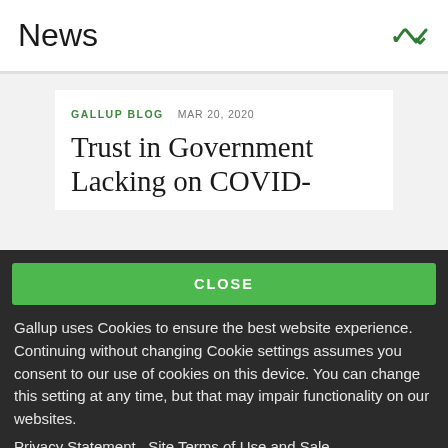News
GALLUP BLOG  MAR 20, 2020
Trust in Government Lacking on COVID-
CLOSE
Gallup uses Cookies to ensure the best website experience. Continuing without changing Cookie settings assumes you consent to our use of cookies on this device. You can change this setting at any time, but that may impair functionality on our websites.
Privacy Statement   Site Terms of Use and Sale
Product Terms of Use   Adjust your cookie settings.